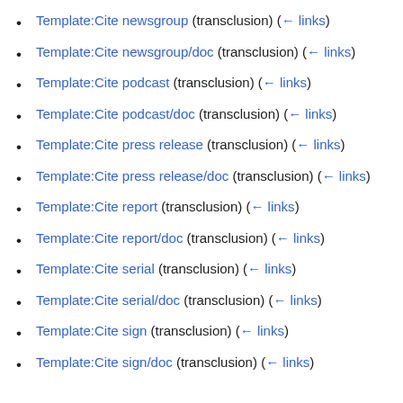Template:Cite newsgroup (transclusion) (← links)
Template:Cite newsgroup/doc (transclusion) (← links)
Template:Cite podcast (transclusion) (← links)
Template:Cite podcast/doc (transclusion) (← links)
Template:Cite press release (transclusion) (← links)
Template:Cite press release/doc (transclusion) (← links)
Template:Cite report (transclusion) (← links)
Template:Cite report/doc (transclusion) (← links)
Template:Cite serial (transclusion) (← links)
Template:Cite serial/doc (transclusion) (← links)
Template:Cite sign (transclusion) (← links)
Template:Cite sign/doc (transclusion) (← links)